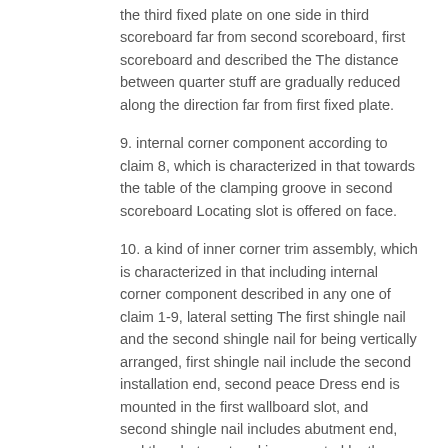the third fixed plate on one side in third scoreboard far from second scoreboard, first scoreboard and described the The distance between quarter stuff are gradually reduced along the direction far from first fixed plate.
9. internal corner component according to claim 8, which is characterized in that towards the table of the clamping groove in second scoreboard Locating slot is offered on face.
10. a kind of inner corner trim assembly, which is characterized in that including internal corner component described in any one of claim 1-9, lateral setting The first shingle nail and the second shingle nail for being vertically arranged, first shingle nail include the second installation end, second peace Dress end is mounted in the first wallboard slot, and second shingle nail includes abutment end, and the abutment end is supported by the plate It connects in the front of first shingle nail.
Description
Internal corner component and inner corner trim assembly